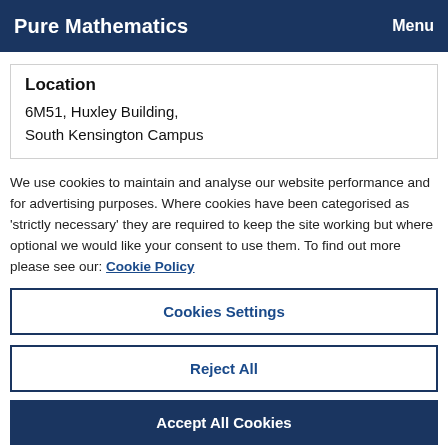Pure Mathematics   Menu
Location
6M51, Huxley Building,
South Kensington Campus
We use cookies to maintain and analyse our website performance and for advertising purposes. Where cookies have been categorised as 'strictly necessary' they are required to keep the site working but where optional we would like your consent to use them. To find out more please see our: Cookie Policy
Cookies Settings
Reject All
Accept All Cookies